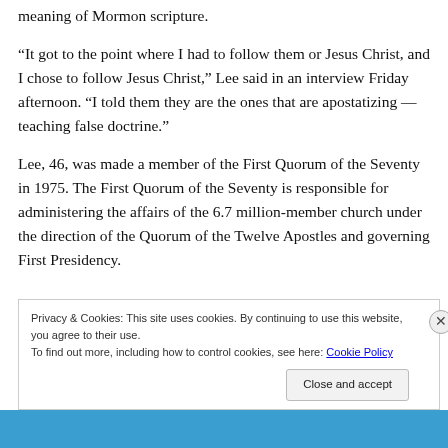meaning of Mormon scripture.
“It got to the point where I had to follow them or Jesus Christ, and I chose to follow Jesus Christ,” Lee said in an interview Friday afternoon. “I told them they are the ones that are apostatizing — teaching false doctrine.”
Lee, 46, was made a member of the First Quorum of the Seventy in 1975. The First Quorum of the Seventy is responsible for administering the affairs of the 6.7 million-member church under the direction of the Quorum of the Twelve Apostles and governing First Presidency.
Privacy & Cookies: This site uses cookies. By continuing to use this website, you agree to their use.
To find out more, including how to control cookies, see here: Cookie Policy